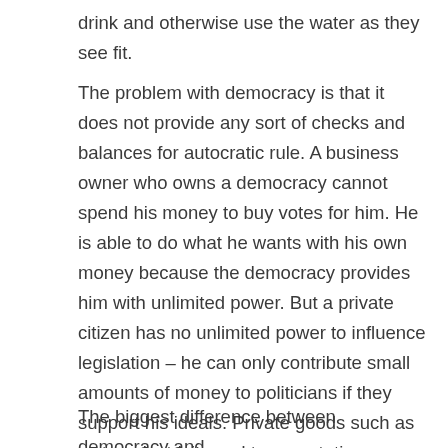drink and otherwise use the water as they see fit.
The problem with democracy is that it does not provide any sort of checks and balances for autocratic rule. A business owner who owns a democracy cannot spend his money to buy votes for him. He is able to do what he wants with his own money because the democracy provides him with unlimited power. But a private citizen has no unlimited power to influence legislation – he can only contribute small amounts of money to politicians if they support his ideals. Private goods such as water, electricity and transportation are not produced for the benefit of the general public, but for the private profit of a company that owns them.
The biggest difference between democracy and